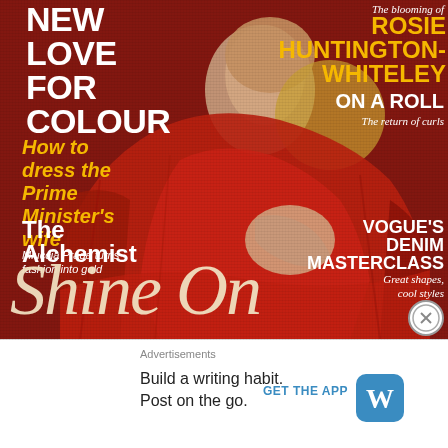[Figure (photo): Magazine cover (Vogue) with a woman in red dress, various cover lines overlaid on the image]
NEW LOVE FOR COLOUR
The blooming of
ROSIE HUNTINGTON-WHITELEY
ON A ROLL
The return of curls
How to dress the Prime Minister's wife
The Alchemist
Miuccia Prada turns fashion into gold
VOGUE'S DENIM MASTERCLASS
Great shapes, cool styles
Shine On
Advertisements
Build a writing habit. Post on the go.
GET THE APP